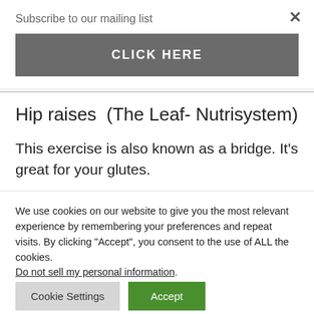Subscribe to our mailing list
CLICK HERE
Hip raises  (The Leaf- Nutrisystem)
This exercise is also known as a bridge. It’s great for your glutes.
Start by lying on the floor. Keep your back...
We use cookies on our website to give you the most relevant experience by remembering your preferences and repeat visits. By clicking “Accept”, you consent to the use of ALL the cookies.
Do not sell my personal information.
Cookie Settings
Accept